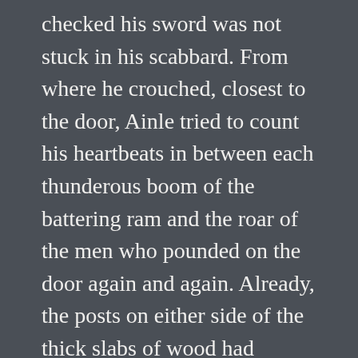checked his sword was not stuck in his scabbard. From where he crouched, closest to the door, Ainle tried to count his heartbeats in between each thunderous boom of the battering ram and the roar of the men who pounded on the door again and again. Already, the posts on either side of the thick slabs of wood had shifted and he was relieved when Naoise shouted and he darted forward lifting up the heavy locking bar keeping the gate closed and toppled it to the ground. Jumping back as the heavy doors swung inward, Ainle and Ardan sprang forward, their shields locked and their swords outstretched like spears and stabbed and hacked at the men leaning back into their swing of the ram. Naoise rushed